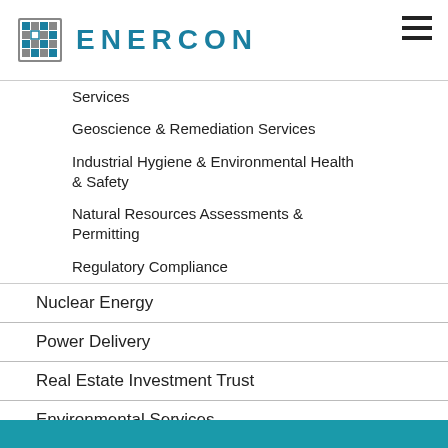[Figure (logo): Enercon logo with teal grid icon and ENERCON wordmark in teal]
Services
Geoscience & Remediation Services
Industrial Hygiene & Environmental Health & Safety
Natural Resources Assessments & Permitting
Regulatory Compliance
Nuclear Energy
Power Delivery
Real Estate Investment Trust
Environmental Services